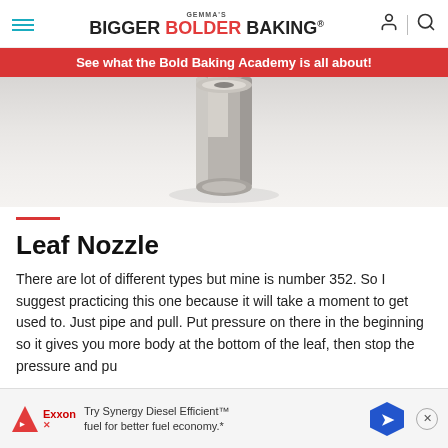GEMMA'S BIGGER BOLDER BAKING®
See what the Bold Baking Academy is all about!
[Figure (photo): Close-up photo of a metal leaf piping nozzle (tip number 352) against a light background, showing the flat top of the nozzle.]
Leaf Nozzle
There are lot of different types but mine is number 352. So I suggest practicing this one because it will take a moment to get used to. Just pipe and pull. Put pressure on there in the beginning so it gives you more body at the bottom of the leaf, then stop the pressure and pu
Try Synergy Diesel Efficient™ fuel for better fuel economy.*